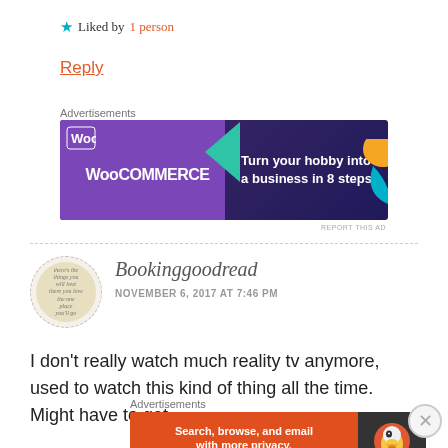★ Liked by 1 person
Reply
Advertisements
[Figure (other): WooCommerce advertisement banner: Turn your hobby into a business in 8 steps]
REPORT THIS AD
Bookinggoodread
NOVEMBER 6, 2017 AT 7:46 PM
I don't really watch much reality tv anymore, used to watch this kind of thing all the time. Might have to get
Advertisements
[Figure (other): DuckDuckGo advertisement: Search, browse, and email with more privacy. All in One Free App]